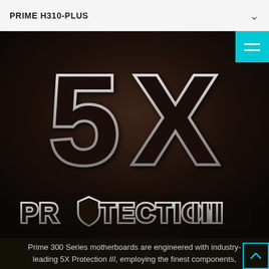PRIME H310-PLUS
[Figure (logo): Large '5X' text in silver/white outlined 3D style letters on dark brown-black background, with 'PROTECTION III' text below in silver metallic lettering with a shield icon replacing the 'O' in PROTECTION]
Prime 300 Series motherboards are engineered with industry-leading 5X Protection III, employing the finest components,